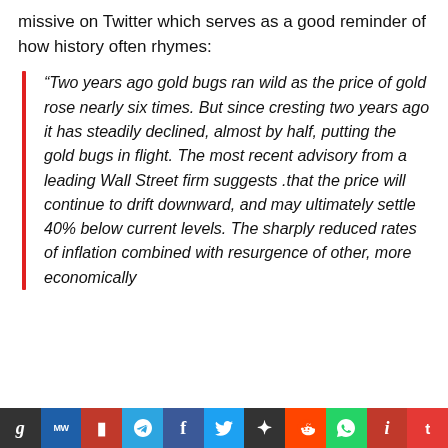missive on Twitter which serves as a good reminder of how history often rhymes:
“Two years ago gold bugs ran wild as the price of gold rose nearly six times. But since cresting two years ago it has steadily declined, almost by half, putting the gold bugs in flight. The most recent advisory from a leading Wall Street firm suggests .that the price will continue to drift downward, and may ultimately settle 40% below current levels. The sharply reduced rates of inflation combined with resurgence of other, more economically
g | MW | P | [telegram] | f | [twitter] | * | [reddit] | [whatsapp] | i | t